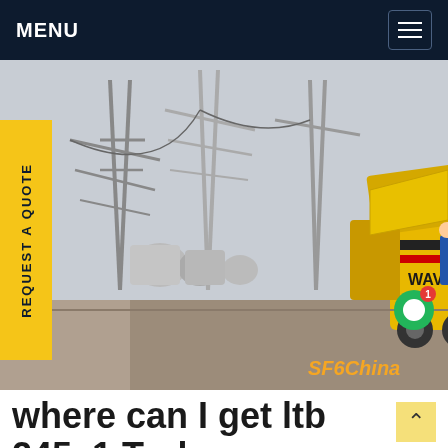MENU
[Figure (photo): A yellow utility truck (SF6 gas service vehicle, labeled WAV 2578) parked at an electrical substation with high-voltage transmission towers and equipment in the background. Watermark reads SF6China.]
REQUEST A QUOTE
where can I get ltb 245e1 Turkey